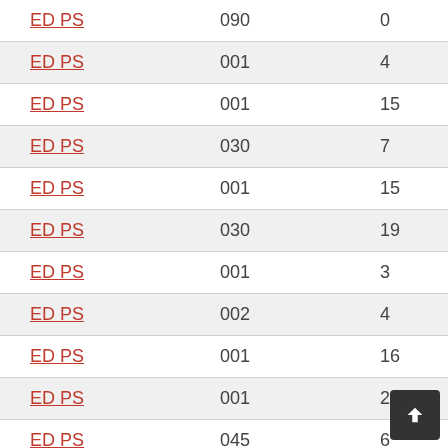| ED PS | 090 | 0 |
| ED PS | 001 | 4 |
| ED PS | 001 | 15 |
| ED PS | 030 | 7 |
| ED PS | 001 | 15 |
| ED PS | 030 | 19 |
| ED PS | 001 | 3 |
| ED PS | 002 | 4 |
| ED PS | 001 | 16 |
| ED PS | 001 | 20 |
| ED PS | 045 | 6 |